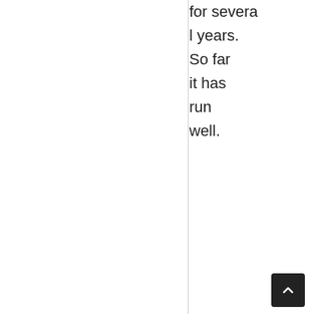for several years. So far it has run well.
[Figure (illustration): Gray circular avatar/user profile icon]
Dieseltech
February 22, 2019
[Figure (other): 2-star rating out of 5 stars (rose/pink colored stars)]
This is